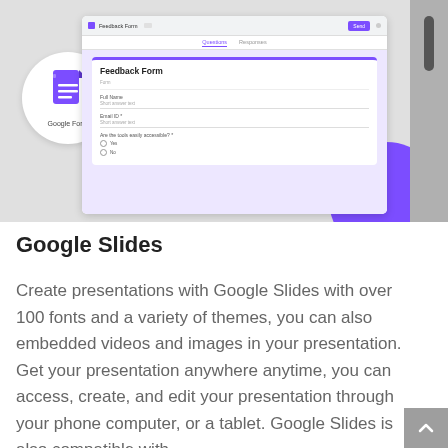[Figure (screenshot): Screenshot of a Google Form 'Feedback Form' open in a web browser, with a Google Form logo icon in a white circle on the left and a purple decorative circle on the right. The form shows fields for Name, Email, and a radio button question.]
Google Slides
Create presentations with Google Slides with over 100 fonts and a variety of themes, you can also embedded videos and images in your presentation. Get your presentation anywhere anytime, you can access, create, and edit your presentation through your phone computer, or a tablet. Google Slides is also compatible with